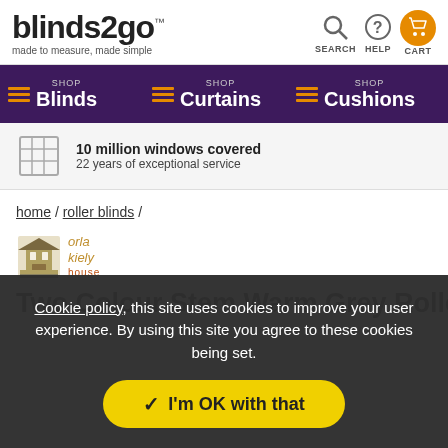blinds2go™ — made to measure, made simple | SEARCH | HELP | CART
SHOP Blinds | SHOP Curtains | SHOP Cushions
10 million windows covered
22 years of exceptional service
home / roller blinds /
[Figure (logo): Orla Kiely House logo — geometric building icon with 'orla kiely house' text in gold]
Two Colour Stem Warm Grey Roller Blind
Cookie policy, this site uses cookies to improve your user experience. By using this site you agree to these cookies being set.
I'm OK with that